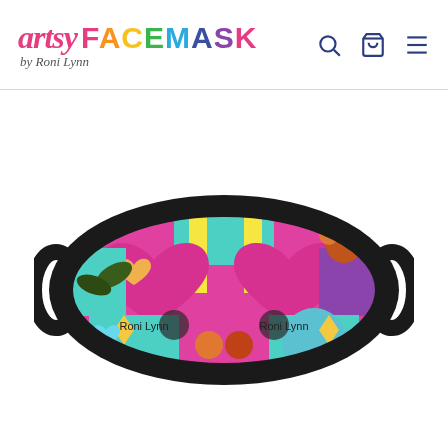[Figure (logo): Artsy FACEMASK by Roni Lynn logo with colorful lettering and navigation icons (search, cart, menu)]
[Figure (photo): A colorful face mask with black border and ear loops, decorated with pink, teal, yellow, purple pop-art pattern featuring hearts, flowers and shapes. Text 'Roni Lynn' appears twice on the mask.]